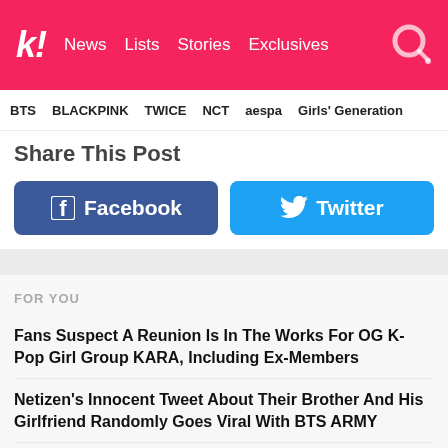k! News Lists Stories Exclusives
BTS BLACKPINK TWICE NCT aespa Girls' Generation
Share This Post
[Figure (other): Facebook share button (blue with Facebook logo)]
[Figure (other): Twitter share button (light blue with Twitter bird logo)]
FOR YOU
Fans Suspect A Reunion Is In The Works For OG K-Pop Girl Group KARA, Including Ex-Members
Netizen's Innocent Tweet About Their Brother And His Girlfriend Randomly Goes Viral With BTS ARMY
The Horrific K-Pop Bullying Scandal That Stunned The Industry